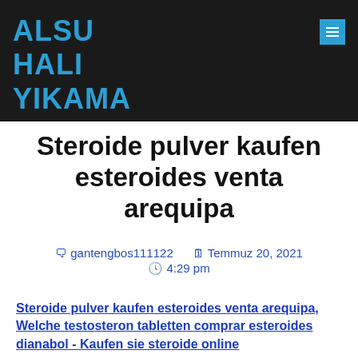ALSU HALI YIKAMA
Steroide pulver kaufen esteroides venta arequipa
🗨 gantengbos111122   🗓 Temmuz 20, 2021   🕓 4:29 pm
Steroide pulver kaufen esteroides venta arequipa, Welche testosteron tabletten comprar esteroides dianabol - Kaufen sie steroide online